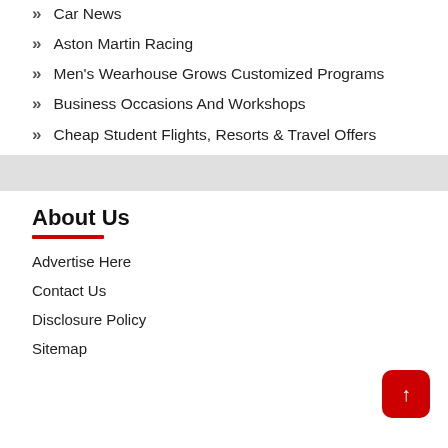Car News
Aston Martin Racing
Men's Wearhouse Grows Customized Programs
Business Occasions And Workshops
Cheap Student Flights, Resorts & Travel Offers
About Us
Advertise Here
Contact Us
Disclosure Policy
Sitemap